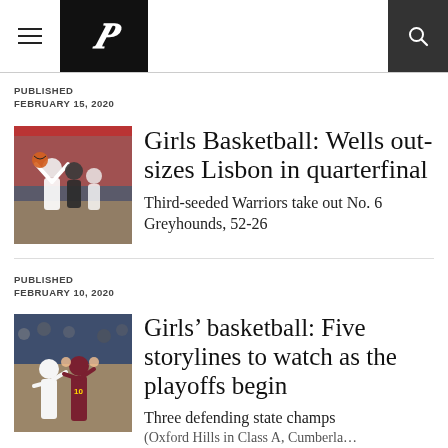P (newspaper logo header with hamburger menu and search)
PUBLISHED
FEBRUARY 15, 2020
Girls Basketball: Wells outsizes Lisbon in quarterfinal
Third-seeded Warriors take out No. 6 Greyhounds, 52-26
PUBLISHED
FEBRUARY 10, 2020
Girls' basketball: Five storylines to watch as the playoffs begin
Three defending state champs (Oxford Hills in Class A, Cumberland…